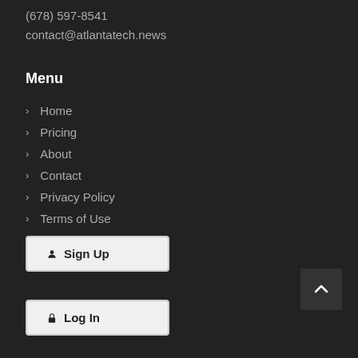(678) 597-8541
contact@atlantatech.news
Menu
Home
Pricing
About
Contact
Privacy Policy
Terms of Use
Sign Up
Log In